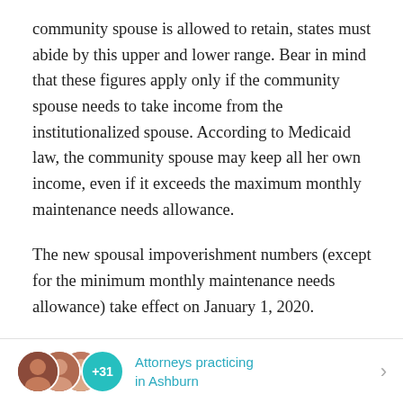community spouse is allowed to retain, states must abide by this upper and lower range. Bear in mind that these figures apply only if the community spouse needs to take income from the institutionalized spouse. According to Medicaid law, the community spouse may keep all her own income, even if it exceeds the maximum monthly maintenance needs allowance.
The new spousal impoverishment numbers (except for the minimum monthly maintenance needs allowance) take effect on January 1, 2020.
For a more complete explanation of the
Attorneys practicing in Ashburn